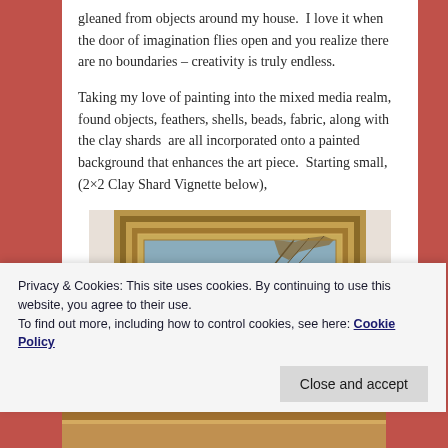gleaned from objects around my house.  I love it when the door of imagination flies open and you realize there are no boundaries – creativity is truly endless.
Taking my love of painting into the mixed media realm, found objects, feathers, shells, beads, fabric, along with the clay shards  are all incorporated onto a painted background that enhances the art piece.  Starting small, (2×2 Clay Shard Vignette below),
[Figure (photo): A framed artwork with an ornate gold frame, showing a painted background with feathers or dried plant material on top, partially visible.]
Privacy & Cookies: This site uses cookies. By continuing to use this website, you agree to their use.
To find out more, including how to control cookies, see here: Cookie Policy
Close and accept